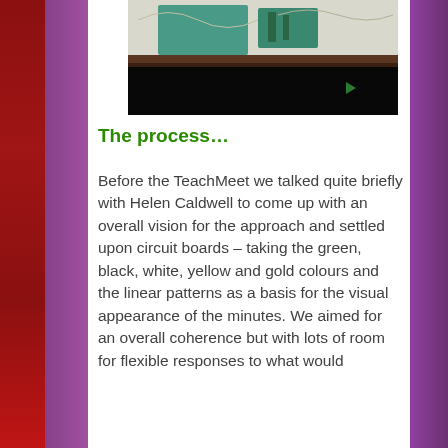[Figure (photo): A partially visible photograph showing what appears to be paper currency or printed materials with green and white patterns, with a dark lower section including a black band.]
The process…
Before the TeachMeet we talked quite briefly with Helen Caldwell to come up with an overall vision for the approach and settled upon circuit boards – taking the green, black, white, yellow and gold colours and the linear patterns as a basis for the visual appearance of the minutes. We aimed for an overall coherence but with lots of room for flexible responses to what would